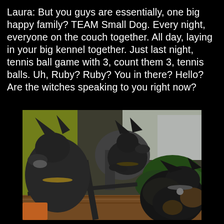Laura: But you guys are essentially, one big happy family? TEAM Small Dog. Every night, everyone on the couch together. All day, laying in your big kennel together. Just last night, tennis ball game with 3, count them 3, tennis balls. Uh, Ruby? Ruby? You in there? Hello? Are the witches speaking to you right now?
[Figure (photo): Three black dogs outdoors on what appears to be a deck or patio. A yellow-green wall is visible in the background along with green foliage and a white building. The dogs are small to medium sized, all wearing collars, looking upward from a low-angle perspective.]